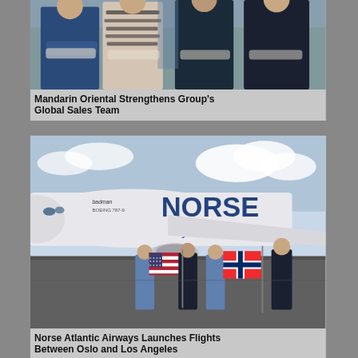[Figure (photo): Photo of four business professionals standing with arms crossed, in formal business attire]
Mandarin Oriental Strengthens Group's Global Sales Team
[Figure (photo): Norse Atlantic Airways Boeing 787-9 aircraft on tarmac with staff holding American and Norwegian flags in front of the plane]
Norse Atlantic Airways Launches Flights Between Oslo and Los Angeles